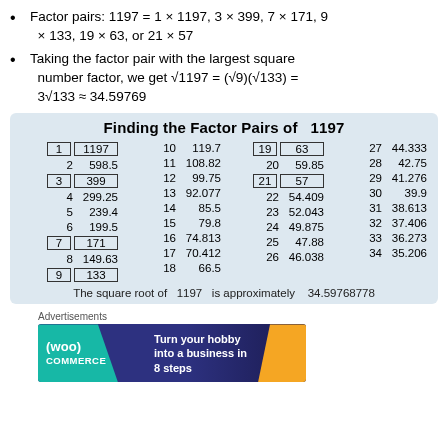Factor pairs: 1197 = 1 × 1197, 3 × 399, 7 × 171, 9 × 133, 19 × 63, or 21 × 57
Taking the factor pair with the largest square number factor, we get √1197 = (√9)(√133) = 3√133 ≈ 34.59769
| 1 | 1197 | 10 | 119.7 | 19 | 63 | 27 | 44.333 |
| 2 | 598.5 | 11 | 108.82 | 20 | 59.85 | 28 | 42.75 |
| 3 | 399 | 12 | 99.75 | 21 | 57 | 29 | 41.276 |
| 4 | 299.25 | 13 | 92.077 | 22 | 54.409 | 30 | 39.9 |
| 5 | 239.4 | 14 | 85.5 | 23 | 52.043 | 31 | 38.613 |
| 6 | 199.5 | 15 | 79.8 | 24 | 49.875 | 32 | 37.406 |
| 7 | 171 | 16 | 74.813 | 25 | 47.88 | 33 | 36.273 |
| 8 | 149.63 | 17 | 70.412 | 26 | 46.038 | 34 | 35.206 |
| 9 | 133 | 18 | 66.5 |  |  |  |  |
The square root of  1197  is approximately  34.59768778
Advertisements
[Figure (photo): WooCommerce advertisement banner: Turn your hobby into a business in 8 steps]